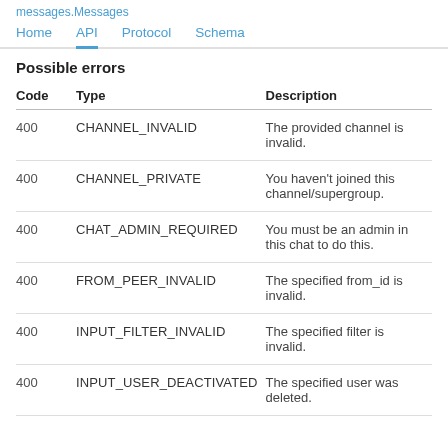messages.Messages
Home  API  Protocol  Schema
Possible errors
| Code | Type | Description |
| --- | --- | --- |
| 400 | CHANNEL_INVALID | The provided channel is invalid. |
| 400 | CHANNEL_PRIVATE | You haven't joined this channel/supergroup. |
| 400 | CHAT_ADMIN_REQUIRED | You must be an admin in this chat to do this. |
| 400 | FROM_PEER_INVALID | The specified from_id is invalid. |
| 400 | INPUT_FILTER_INVALID | The specified filter is invalid. |
| 400 | INPUT_USER_DEACTIVATED | The specified user was deleted. |